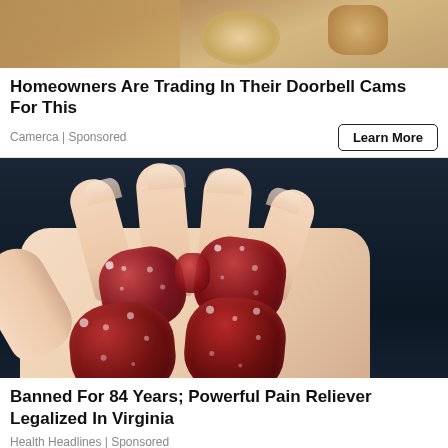[Figure (photo): Top portion of an advertisement image, partially cut off, showing what appears to be a stone or textured surface]
Homeowners Are Trading In Their Doorbell Cams For This
Camerca | Sponsored
Learn More
[Figure (photo): A hand holding several dark red sugar-coated gummy candies against a dark blue background]
Banned For 84 Years; Powerful Pain Reliever Legalized In Virginia
Health Headlines | Sponsored